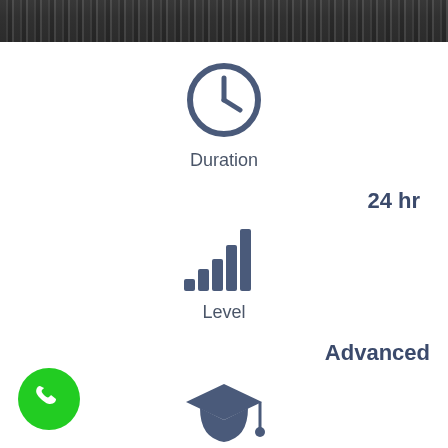[Figure (photo): Top banner photo showing a keyboard and a person holding a pen/pencil]
[Figure (illustration): Clock icon representing duration]
Duration
24 hr
[Figure (illustration): Bar chart / signal strength icon representing level]
Level
Advanced
[Figure (illustration): Graduation cap icon]
[Figure (illustration): Green phone/call button icon at bottom left]